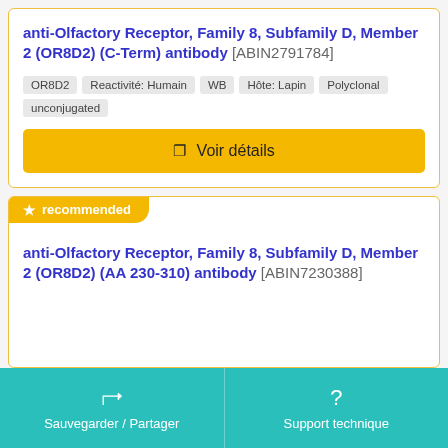anti-Olfactory Receptor, Family 8, Subfamily D, Member 2 (OR8D2) (C-Term) antibody [ABIN2791784]
OR8D2
Reactivité: Humain
WB
Hôte: Lapin
Polyclonal
unconjugated
Voir détails
recommended
anti-Olfactory Receptor, Family 8, Subfamily D, Member 2 (OR8D2) (AA 230-310) antibody [ABIN7230388]
Sauvegarder / Partager | Support technique